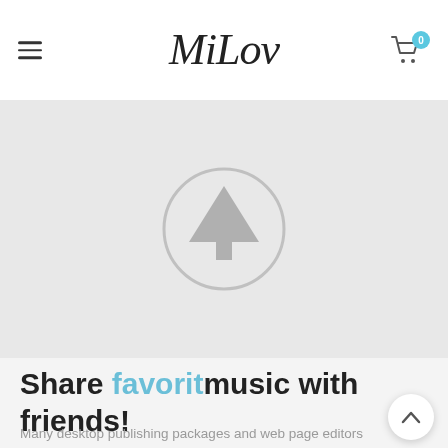MiLov — navigation header with hamburger menu and cart icon
[Figure (illustration): Light grey hero banner with a circular tree/upload icon in the center on a grey background]
Share favorit music with friends!
Many desktop publishing packages and web page editors